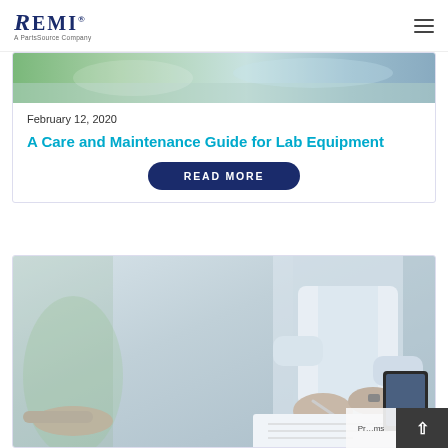[Figure (logo): REMI logo - A PartsSource Company]
[Figure (photo): Lab equipment photo - top portion of image card 1]
February 12, 2020
A Care and Maintenance Guide for Lab Equipment
READ MORE
[Figure (photo): Photo of person in white coat writing on paper with another person pointing at document, with tablet device visible]